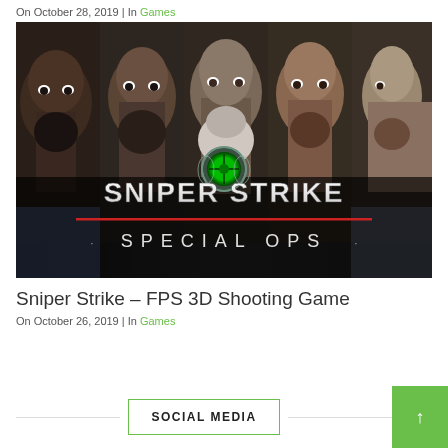On October 28, 2019 | In Games
[Figure (photo): Sniper Strike – Special Ops game promotional image showing five male characters' faces across the frame with the game title 'SNIPER STRIKE SPECIAL OPS' overlaid in white text on a dark background]
Sniper Strike – FPS 3D Shooting Game
On October 26, 2019 | In Games
SOCIAL MEDIA